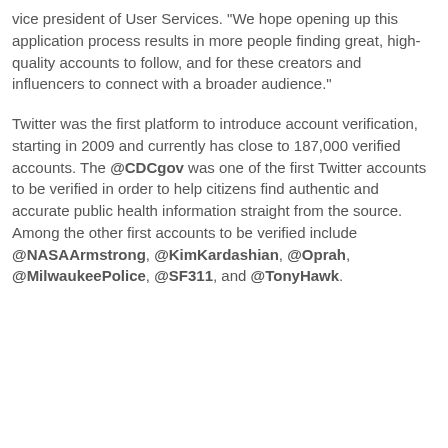vice president of User Services. "We hope opening up this application process results in more people finding great, high-quality accounts to follow, and for these creators and influencers to connect with a broader audience."
Twitter was the first platform to introduce account verification, starting in 2009 and currently has close to 187,000 verified accounts. The @CDCgov was one of the first Twitter accounts to be verified in order to help citizens find authentic and accurate public health information straight from the source. Among the other first accounts to be verified include @NASAArmstrong, @KimKardashian, @Oprah, @MilwaukeePolice, @SF311, and @TonyHawk.